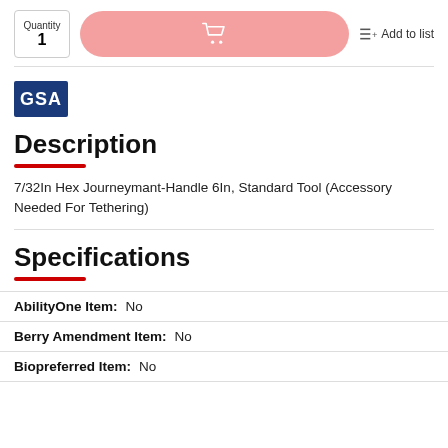[Figure (other): Quantity input box showing '1', pink Add to Cart button with shopping cart icon, and Add to list button]
[Figure (logo): GSA logo — white text on blue background]
Description
7/32In Hex Journeymant-Handle 6In, Standard Tool (Accessory Needed For Tethering)
Specifications
| Attribute | Value |
| --- | --- |
| AbilityOne Item: | No |
| Berry Amendment Item: | No |
| Biopreferred Item: | No |